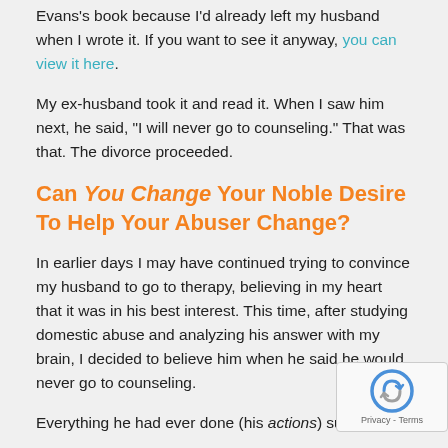Evans's book because I'd already left my husband when I wrote it. If you want to see it anyway, you can view it here.
My ex-husband took it and read it. When I saw him next, he said, "I will never go to counseling." That was that. The divorce proceeded.
Can You Change Your Noble Desire To Help Your Abuser Change?
In earlier days I may have continued trying to convince my husband to go to therapy, believing in my heart that it was in his best interest. This time, after studying domestic abuse and analyzing his answer with my brain, I decided to believe him when he said he would never go to counseling.
Everything he had ever done (his actions) supported that statement. There was no reason to disbelieve him. If he couldn't accept outside help for himself or for us, then...